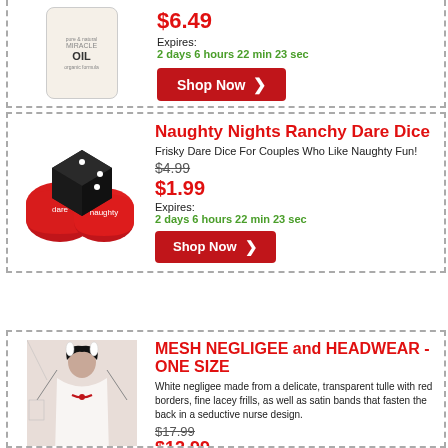[Figure (photo): Bottle of Miracle Oil product]
$6.49
Expires:
2 days 6 hours 22 min 23 sec
Shop Now
Naughty Nights Ranchy Dare Dice
[Figure (photo): Black and red dare dice set for couples]
Frisky Dare Dice For Couples Who Like Naughty Fun!
$4.99
$1.99
Expires:
2 days 6 hours 22 min 23 sec
Shop Now
MESH NEGLIGEE and HEADWEAR - ONE SIZE
[Figure (photo): Woman in white mesh negligee nurse costume]
White negligee made from a delicate, transparent tulle with red borders, fine lacey frills, as well as satin bands that fasten the back in a seductive nurse design.
$17.99
$12.99